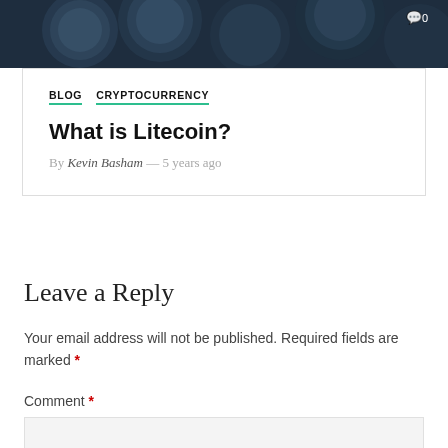[Figure (photo): Dark background image of cryptocurrency coins, partially visible at top of page with a comment count icon (0) in the top right corner.]
BLOG  CRYPTOCURRENCY
What is Litecoin?
By Kevin Basham — 5 years ago
Leave a Reply
Your email address will not be published. Required fields are marked *
Comment *